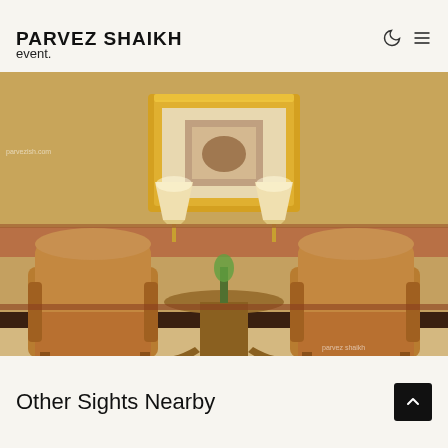PARVEZ SHAIKH
event.
[Figure (photo): Hotel lobby interior with two golden leather armchairs flanking a decorative table, ornate gold-framed mirror on the wall, two lamps, and marble wainscoting. Watermarks: parvezish.com (top left) and parvez shaikh (bottom right).]
Other Sights Nearby